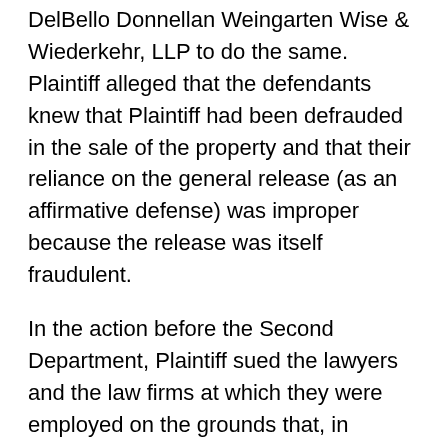DelBello Donnellan Weingarten Wise & Wiederkehr, LLP to do the same. Plaintiff alleged that the defendants knew that Plaintiff had been defrauded in the sale of the property and that their reliance on the general release (as an affirmative defense) was improper because the release was itself fraudulent.
In the action before the Second Department, Plaintiff sued the lawyers and the law firms at which they were employed on the grounds that, in connection with the claim denial action, they knew she had been defrauded and that the affirmative defense they asserted relating to the general release was based on a fraud. Plaintiff maintained that the continued